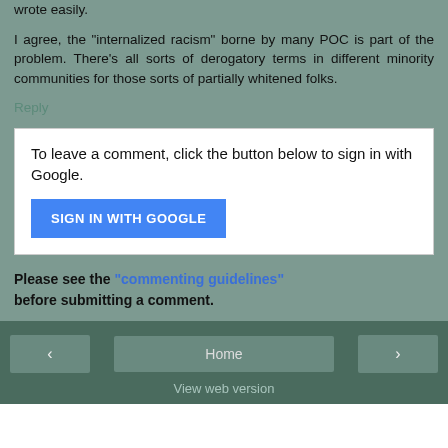wrote easily.
I agree, the "internalized racism" borne by many POC is part of the problem. There's all sorts of derogatory terms in different minority communities for those sorts of partially whitened folks.
Reply
To leave a comment, click the button below to sign in with Google.
SIGN IN WITH GOOGLE
Please see the "commenting guidelines" before submitting a comment.
< Home > View web version